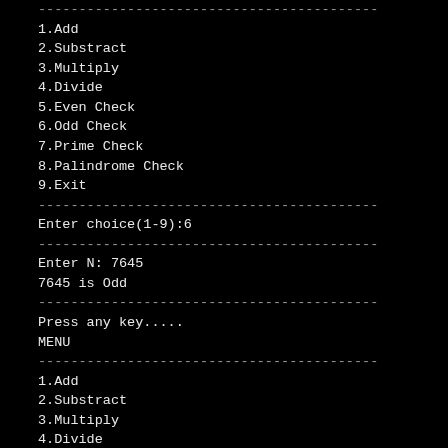------------------------------------------
1.Add
2.Substract
3.Multiply
4.Divide
5.Even Check
6.Odd Check
7.Prime Check
8.Palindrome Check
9.Exit
------------------------------------------
Enter choice(1-9):6
------------------------------------------
Enter N: 7645
7645 is Odd
------------------------------------------
Press any key.....
MENU
------------------------------------------
1.Add
2.Substract
3.Multiply
4.Divide
5.Even Check
6.Odd Check